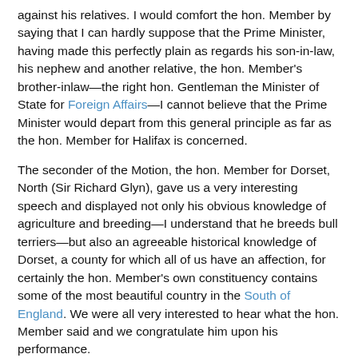against his relatives. I would comfort the hon. Member by saying that I can hardly suppose that the Prime Minister, having made this perfectly plain as regards his son-in-law, his nephew and another relative, the hon. Member's brother-inlaw—the right hon. Gentleman the Minister of State for Foreign Affairs—I cannot believe that the Prime Minister would depart from this general principle as far as the hon. Member for Halifax is concerned.
The seconder of the Motion, the hon. Member for Dorset, North (Sir Richard Glyn), gave us a very interesting speech and displayed not only his obvious knowledge of agriculture and breeding—I understand that he breeds bull terriers—but also an agreeable historical knowledge of Dorset, a county for which all of us have an affection, for certainly the hon. Member's own constituency contains some of the most beautiful country in the South of England. We were all very interested to hear what the hon. Member said and we congratulate him upon his performance.
In turning to the Gracious Speech, I should like to take up a point which the hon. Member for Dorset, North made about the floods. There is nothing about the subject in the Gracious Speech, yet the fact remains that there are hundreds of thousands of our fellow countrymen who are far more concerned about this matter than about anything else at the moment. I ask the Government whether they are really satisfied that all